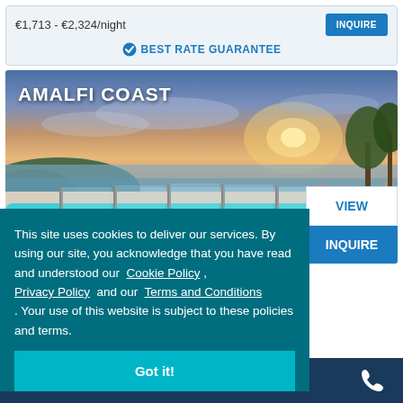€1,713 - €2,324/night
BEST RATE GUARANTEE
[Figure (photo): Infinity pool overlooking the Amalfi Coast at sunset with glass railings and warm sky]
AMALFI COAST
VIEW
INQUIRE
This site uses cookies to deliver our services. By using our site, you acknowledge that you have read and understood our Cookie Policy , Privacy Policy and our Terms and Conditions . Your use of this website is subject to these policies and terms.
Got it!